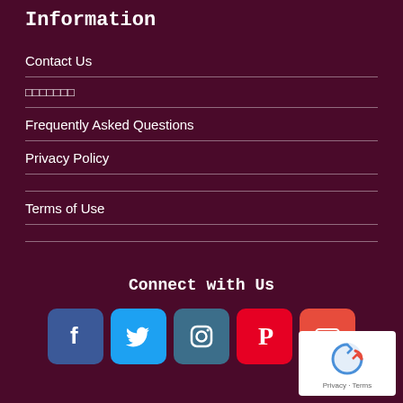Information
Contact Us
□□□□□□□
Frequently Asked Questions
Privacy Policy
Terms of Use
Connect with Us
[Figure (infographic): Social media icons: Facebook (blue), Twitter (light blue), Instagram (teal/dark blue), Pinterest (red), YouTube (red with play button)]
[Figure (logo): reCAPTCHA badge with Google logo, Privacy and Terms links]